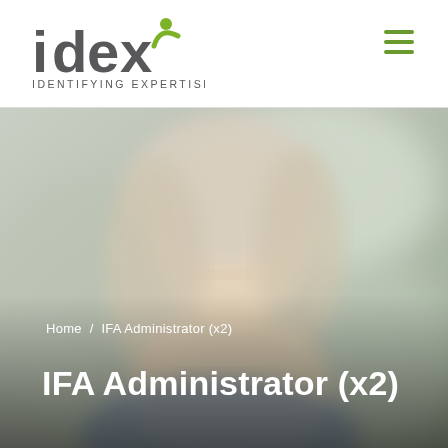[Figure (logo): IDEX - Identifying Expertise logo with stylized text and green person icon]
[Figure (photo): Background hero image of a smiling middle-aged woman with light hair, soft blurred outdoor background]
Home / IFA Administrator (x2)
IFA Administrator (x2)